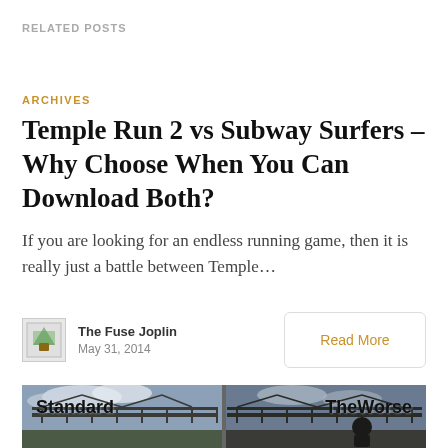RELATED POSTS
ARCHIVES
Temple Run 2 vs Subway Surfers – Why Choose When You Can Download Both?
If you are looking for an endless running game, then it is really just a battle between Temple…
The Fuse Joplin
May 31, 2014
Read More
[Figure (photo): Split comparison image showing 'Standard' on the left and 'TheWorse' on the right, featuring a bridge scene with dark/moody sky]